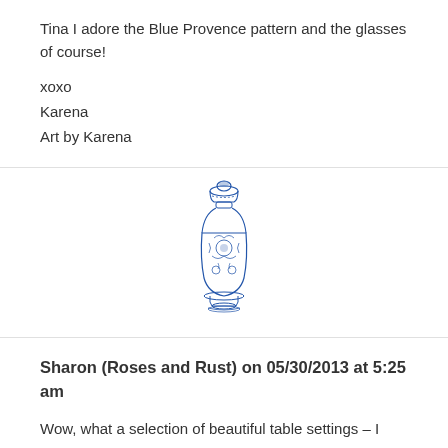Tina I adore the Blue Provence pattern and the glasses of course!
xoxo
Karena
Art by Karena
[Figure (illustration): Blue and white decorative ceramic ginger jar / vase with floral pattern, rendered in blue ink illustration style]
Sharon (Roses and Rust) on 05/30/2013 at 5:25 am
Wow, what a selection of beautiful table settings – I